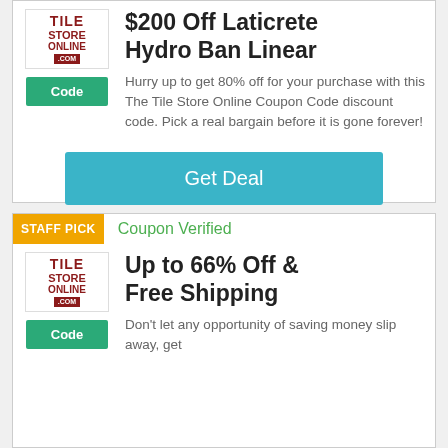$200 Off Laticrete Hydro Ban Linear
Hurry up to get 80% off for your purchase with this The Tile Store Online Coupon Code discount code. Pick a real bargain before it is gone forever!
Get Deal
STAFF PICK
Coupon Verified
Up to 66% Off & Free Shipping
Don't let any opportunity of saving money slip away, get